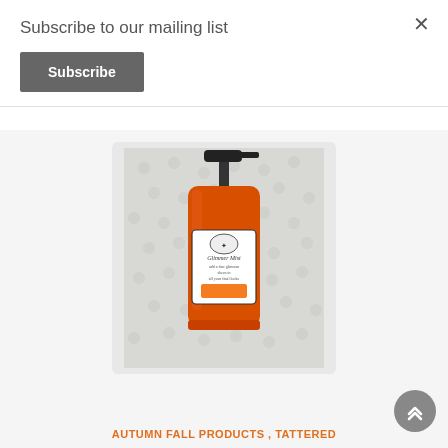Subscribe to our mailing list
Subscribe
[Figure (photo): Orange spray bottle of Tattered Angels Glimmer Mist product on white/grey textured background]
AUTUMN FALL PRODUCTS , TATTERED